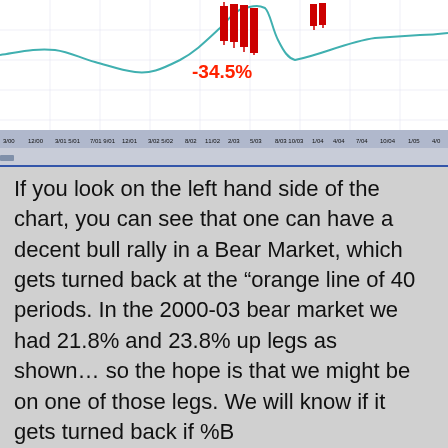[Figure (continuous-plot): Stock market chart showing price movements with red candlesticks and a teal/cyan moving average line. A red label showing -34.5% is visible around the middle of the chart. The x-axis shows date labels from 3/00 through 4/05+.]
If you look on the left hand side of the chart, you can see that one can have a decent bull rally in a Bear Market, which gets turned back at the “orange line of 40 periods.  In the 2000-03 bear market we had 21.8% and 23.8% up legs as shown… so the hope is that we might be on one of those legs.  We will know if it gets turned back if %B